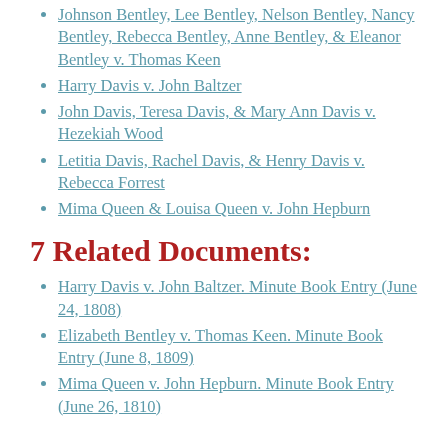Johnson Bentley, Lee Bentley, Nelson Bentley, Nancy Bentley, Rebecca Bentley, Anne Bentley, & Eleanor Bentley v. Thomas Keen
Harry Davis v. John Baltzer
John Davis, Teresa Davis, & Mary Ann Davis v. Hezekiah Wood
Letitia Davis, Rachel Davis, & Henry Davis v. Rebecca Forrest
Mima Queen & Louisa Queen v. John Hepburn
7 Related Documents:
Harry Davis v. John Baltzer. Minute Book Entry (June 24, 1808)
Elizabeth Bentley v. Thomas Keen. Minute Book Entry (June 8, 1809)
Mima Queen v. John Hepburn. Minute Book Entry (June 26, 1810)